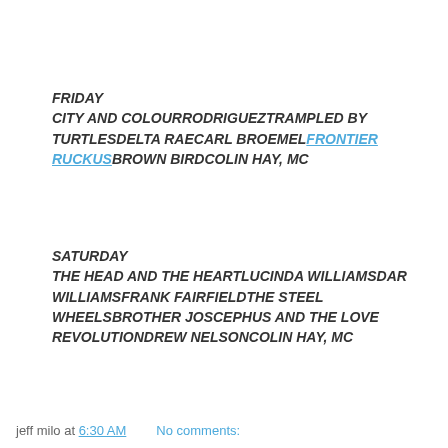FRIDAY
CITY AND COLOURRODRIGUEZTRAMPLED BY TURTLESDELTA RAECARL BROEMELFRONTIER RUCKUSBROWN BIRDCOLIN HAY, MC
SATURDAY
THE HEAD AND THE HEARTLUCINDA WILLIAMSDAR WILLIAMSFRANK FAIRFIELDTHE STEEL WHEELSBROTHER JOSCEPHUS AND THE LOVE REVOLUTIONDREW NELSONCOLIN HAY, MC
jeff milo at 6:30 AM    No comments: